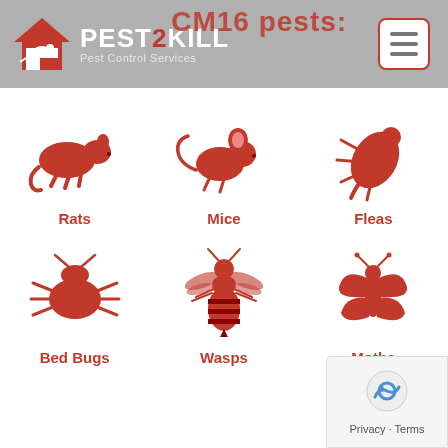[Figure (logo): Pest2Kill logo with house icon and rat silhouette, red and white colors]
CM16 pests:
[Figure (infographic): Grid of 6 red pest silhouette icons: Rats, Mice, Fleas, Bed Bugs, Wasps, Moths]
Rats
Mice
Fleas
Bed Bugs
Wasps
Moths